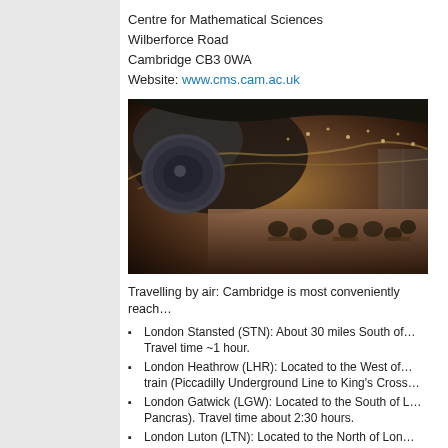Centre for Mathematical Sciences
Wilberforce Road
Cambridge CB3 0WA
Website: www.cms.cam.ac.uk
[Figure (photo): Interior photo of the Centre for Mathematical Sciences building showing a curved modern architecture space with people seated at tables below a sweeping curved ceiling with ambient lighting]
Travelling by air: Cambridge is most conveniently reach...
London Stansted (STN): About 30 miles South of... Travel time ~1 hour.
London Heathrow (LHR): Located to the West of... train (Piccadilly Underground Line to King's Cross...
London Gatwick (LGW): Located to the South of... Pancras). Travel time about 2:30 hours.
London Luton (LTN): Located to the North of Lon...
National Express Coaches stop at and depart from Cam...
Links: